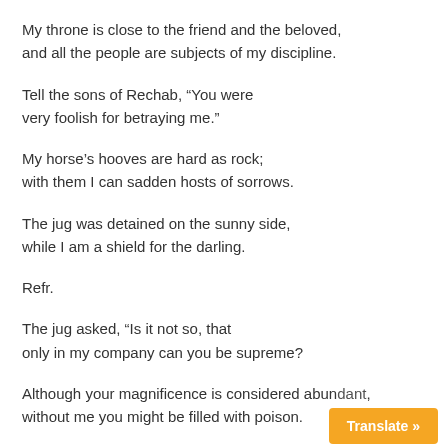My throne is close to the friend and the beloved,
and all the people are subjects of my discipline.
Tell the sons of Rechab, “You were
very foolish for betraying me.”
My horse’s hooves are hard as rock;
with them I can sadden hosts of sorrows.
The jug was detained on the sunny side,
while I am a shield for the darling.
Refr.
The jug asked, “Is it not so, that
only in my company can you be supreme?
Although your magnificence is considered abundant,
without me you might be filled with poison.